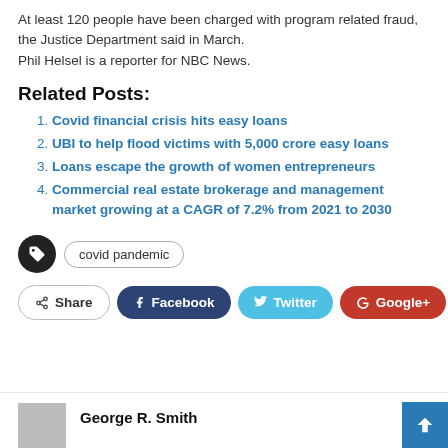At least 120 people have been charged with program related fraud, the Justice Department said in March.
Phil Helsel is a reporter for NBC News.
Related Posts:
Covid financial crisis hits easy loans
UBI to help flood victims with 5,000 crore easy loans
Loans escape the growth of women entrepreneurs
Commercial real estate brokerage and management market growing at a CAGR of 7.2% from 2021 to 2030
covid pandemic
Share  Facebook  Twitter  Google+  +
George R. Smith